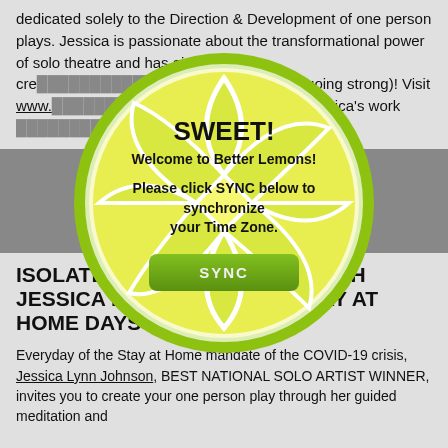dedicated solely to the Direction & Development of one person plays. Jessica is passionate about the transformational power of solo theatre and has aided in the creation of shows (and still going strong)! Visit www. [obscured] information on Jessica's work [obscured]
[Figure (illustration): A lemon slice graphic overlaid with a popup dialog showing SWEET! Welcome to Better Lemons! Please click SYNC below to synchronize your Time Zone. with a green SYNC button.]
ISOLATE.MEDITATE.CREATE WITH JESSICA LYNN JOHNSON - STAY AT HOME DAYS 8 - 15
Everyday of the Stay at Home mandate of the COVID-19 crisis, Jessica Lynn Johnson, BEST NATIONAL SOLO ARTIST WINNER, invites you to create your one person play through her guided meditation and